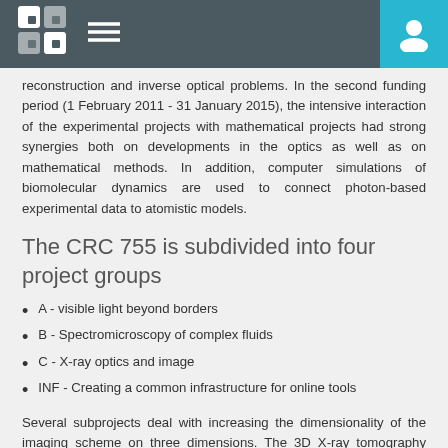[Navigation header with logo, menu icon, and user icon]
reconstruction and inverse optical problems. In the second funding period (1 February 2011 - 31 January 2015), the intensive interaction of the experimental projects with mathematical projects had strong synergies both on developments in the optics as well as on mathematical methods. In addition, computer simulations of biomolecular dynamics are used to connect photon-based experimental data to atomistic models.
The CRC 755 is subdivided into four project groups
A - visible light beyond borders
B - Spectromicroscopy of complex fluids
C - X-ray optics and image
INF - Creating a common infrastructure for online tools
Several subprojects deal with increasing the dimensionality of the imaging scheme on three dimensions. The 3D X-ray tomography approach in the nanoparticle is to be extended to time-resolved (4D) studies. The image quality is to be